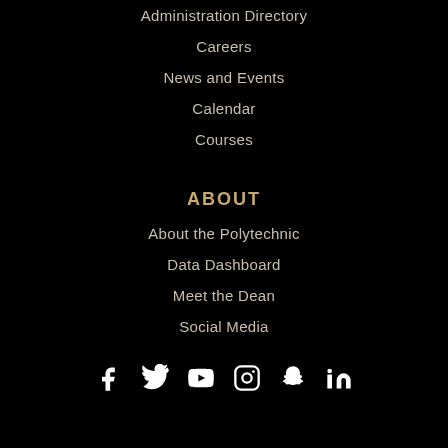Administration Directory
Careers
News and Events
Calendar
Courses
ABOUT
About the Polytechnic
Data Dashboard
Meet the Dean
Social Media
[Figure (illustration): Row of social media icons: Facebook, Twitter, YouTube, Instagram, Snapchat, LinkedIn]